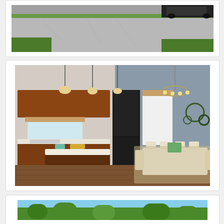[Figure (photo): Exterior photo showing a concrete driveway with green grass lawn and a dark truck partially visible in the upper right corner.]
[Figure (photo): Interior photo of a modern kitchen and dining area with dark wood cabinets, a kitchen island with bar stools, pendant lights, black refrigerator, hardwood floors, and a dining table with chairs on the right side.]
[Figure (photo): Partial view of an exterior photo with blue sky and green trees visible at the bottom of the page.]